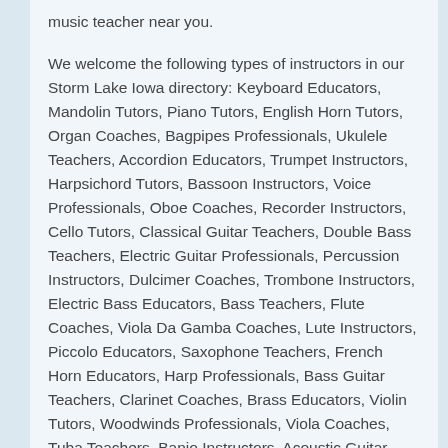music teacher near you.
We welcome the following types of instructors in our Storm Lake Iowa directory: Keyboard Educators, Mandolin Tutors, Piano Tutors, English Horn Tutors, Organ Coaches, Bagpipes Professionals, Ukulele Teachers, Accordion Educators, Trumpet Instructors, Harpsichord Tutors, Bassoon Instructors, Voice Professionals, Oboe Coaches, Recorder Instructors, Cello Tutors, Classical Guitar Teachers, Double Bass Teachers, Electric Guitar Professionals, Percussion Instructors, Dulcimer Coaches, Trombone Instructors, Electric Bass Educators, Bass Teachers, Flute Coaches, Viola Da Gamba Coaches, Lute Instructors, Piccolo Educators, Saxophone Teachers, French Horn Educators, Harp Professionals, Bass Guitar Teachers, Clarinet Coaches, Brass Educators, Violin Tutors, Woodwinds Professionals, Viola Coaches, Tuba Teachers, Banjo Instructors, Acoustic Guitar Educators, Drums Professionals .